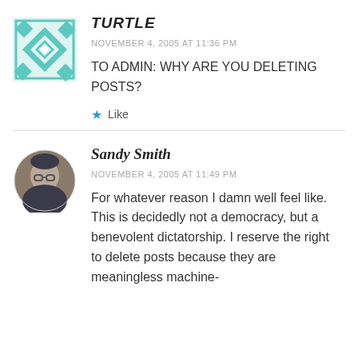[Figure (illustration): Teal and white geometric/quilted square avatar for user TURTLE]
TURTLE
NOVEMBER 4, 2005 AT 11:36 PM
TO ADMIN: WHY ARE YOU DELETING POSTS?
Like
[Figure (photo): Circular profile photo of Sandy Smith, a person wearing glasses]
Sandy Smith
NOVEMBER 4, 2005 AT 11:49 PM
For whatever reason I damn well feel like. This is decidedly not a democracy, but a benevolent dictatorship. I reserve the right to delete posts because they are meaningless machine-